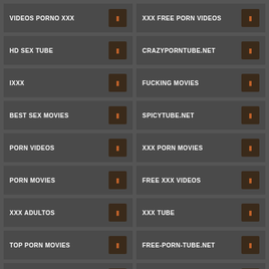VIDEOS PORNO XXX
XXX FREE PORN VIDEOS
HD SEX TUBE
CRAZYPORNTUBE.NET
IXXX
FUCKING MOVIES
BEST SEX MOVIES
SPICYTUBE.NET
PORN VIDEOS
XXX PORN MOVIES
PORN MOVIES
FREE XXX VIDEOS
XXX ADULTOS
XXX TUBE
TOP PORN MOVIES
FREE-PORN-TUBE.NET
XXX TUBE
HOT FREE PORN